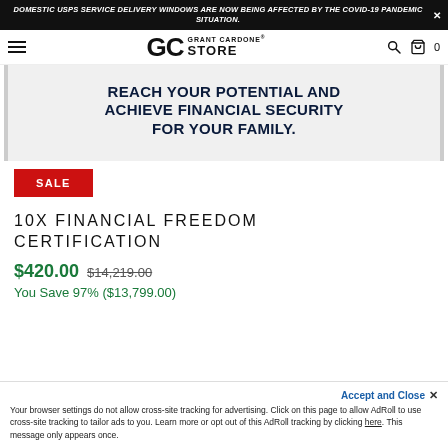DOMESTIC USPS SERVICE DELIVERY WINDOWS ARE NOW BEING AFFECTED BY THE COVID-19 PANDEMIC SITUATION.
[Figure (logo): Grant Cardone Store logo with hamburger menu, search icon, and cart icon]
[Figure (illustration): Hero banner with dark navy text: REACH YOUR POTENTIAL AND ACHIEVE FINANCIAL SECURITY FOR YOUR FAMILY.]
SALE
10X FINANCIAL FREEDOM CERTIFICATION
$420.00 $14,219.00
You Save 97% ($13,799.00)
Your browser settings do not allow cross-site tracking for advertising. Click on this page to allow AdRoll to use cross-site tracking to tailor ads to you. Learn more or opt out of this AdRoll tracking by clicking here. This message only appears once.